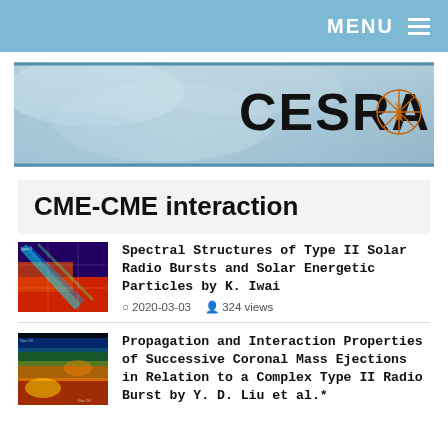MENU
[Figure (illustration): CESRA website banner with solar corona imagery and CESRA logo with compass-rose icon in orange]
CME-CME interaction
[Figure (screenshot): Spectral plot thumbnail showing colorful solar radio burst frequency-time data]
Spectral Structures of Type II Solar Radio Bursts and Solar Energetic Particles by K. Iwai
2020-03-03   324 views
[Figure (screenshot): Spectral plot thumbnail showing dark colorful successive coronal mass ejection radio data]
Propagation and Interaction Properties of Successive Coronal Mass Ejections in Relation to a Complex Type II Radio Burst by Y. D. Liu et al.*